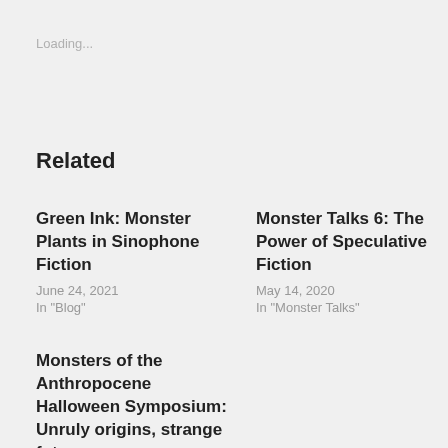Loading...
Related
Green Ink: Monster Plants in Sinophone Fiction
June 24, 2021
In "Blog"
Monster Talks 6: The Power of Speculative Fiction
May 14, 2020
In "Monster Talks"
Monsters of the Anthropocene Halloween Symposium: Unruly origins, strange futures